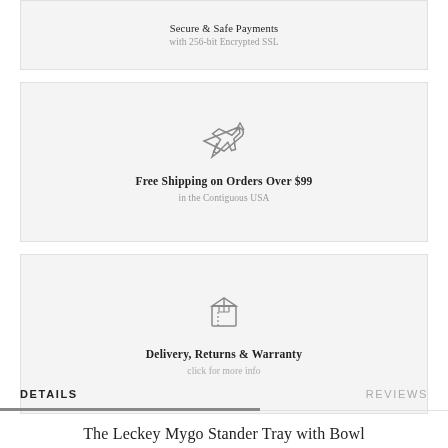Secure & Safe Payments
with 256-bit Encrypted SSL
Free Shipping on Orders Over $99
in the Contiguous USA
Delivery, Returns & Warranty
click for more info
DETAILS
REVIEWS
The Leckey Mygo Stander Tray with Bowl